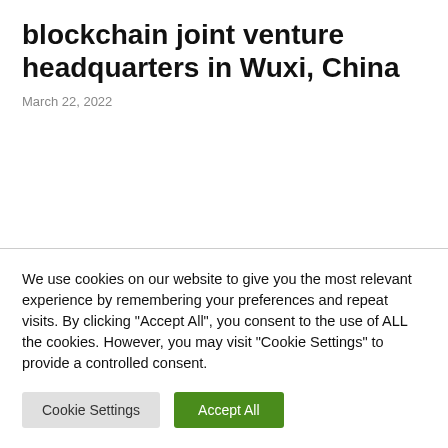blockchain joint venture headquarters in Wuxi, China
March 22, 2022
We use cookies on our website to give you the most relevant experience by remembering your preferences and repeat visits. By clicking "Accept All", you consent to the use of ALL the cookies. However, you may visit "Cookie Settings" to provide a controlled consent.